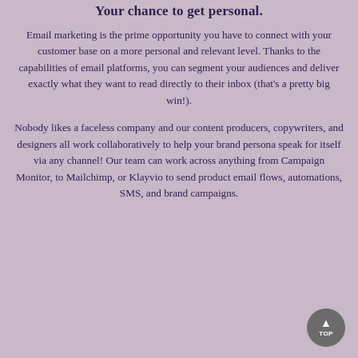Your chance to get personal.
Email marketing is the prime opportunity you have to connect with your customer base on a more personal and relevant level. Thanks to the capabilities of email platforms, you can segment your audiences and deliver exactly what they want to read directly to their inbox (that's a pretty big win!).
Nobody likes a faceless company and our content producers, copywriters, and designers all work collaboratively to help your brand persona speak for itself via any channel! Our team can work across anything from Campaign Monitor, to Mailchimp, or Klayvio to send product email flows, automations, SMS, and brand campaigns.